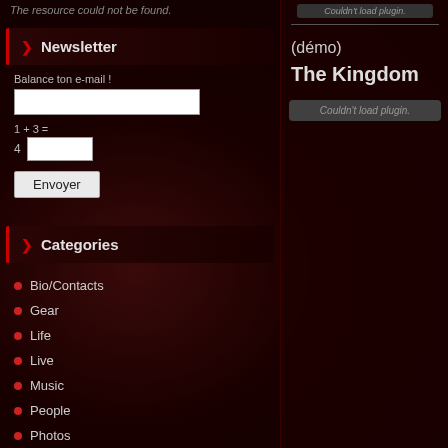The resource could not be found.
[Figure (screenshot): Plugin error box top right: Couldn't load plugin.]
Newsletter
Balance ton e-mail !
1 + 3 =
4
Envoyer
Categories
Bio/Contacts
Gear
Life
Live
Music
People
Photos
Places
Shop
Shows
Videos
(démo)
The Kingdom
[Figure (screenshot): Plugin error box: Couldn't load plugin.]